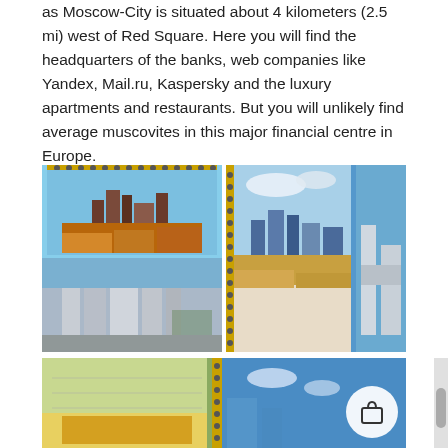as Moscow-City is situated about 4 kilometers (2.5 mi) west of Red Square. Here you will find the headquarters of the banks, web companies like Yandex, Mail.ru, Kaspersky and the luxury apartments and restaurants. But you will unlikely find average muscovites in this major financial centre in Europe.
[Figure (photo): Two photos of sketchbook drawings of Moscow-City skyscrapers, each paired with actual photos of the buildings below.]
[Figure (photo): A partial photo at the bottom showing a sketchbook page with green/yellow artwork alongside a blue sky view, with a shopping bag icon button overlay.]